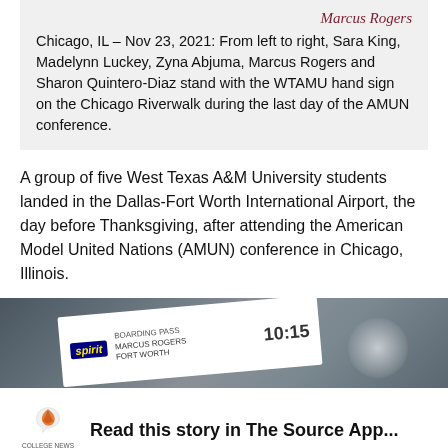Marcus Rogers
Chicago, IL – Nov 23, 2021: From left to right, Sara King, Madelynn Luckey, Zyna Abjuma, Marcus Rogers and Sharon Quintero-Diaz stand with the WTAMU hand sign on the Chicago Riverwalk during the last day of the AMUN conference.
A group of five West Texas A&M University students landed in the Dallas-Fort Worth International Airport, the day before Thanksgiving, after attending the American Model United Nations (AMUN) conference in Chicago, Illinois.
[Figure (photo): Partial view of a Spirit Airlines boarding pass held by a hand, showing text including 'spirit', boarding time '10:15', and other flight details, on a grey surface.]
Read this story in The Source App...
Open App   Continue in browser